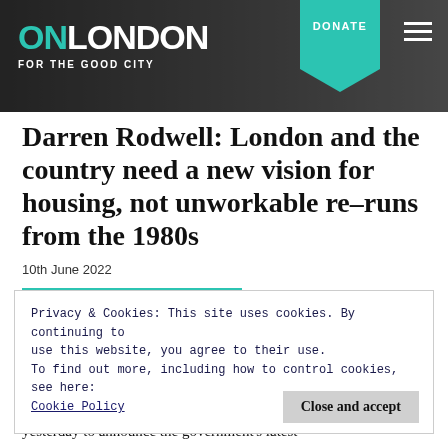ON LONDON — FOR THE GOOD CITY | DONATE
Darren Rodwell: London and the country need a new vision for housing, not unworkable re-runs from the 1980s
10th June 2022
Boris Johnson's latest proposals are unhelpful, impractical, outmoded and designed purely to get him p...
Privacy & Cookies: This site uses cookies. By continuing to use this website, you agree to their use.
To find out more, including how to control cookies, see here:
Cookie Policy
Boris Johnson used a speech in Blackpool yesterday to announce the government's latest